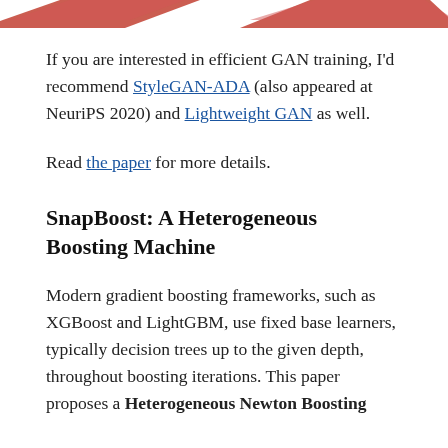[Figure (illustration): Partial view of two red/pink triangular arrow shapes at the top of the page, likely part of a diagram from the previous page.]
If you are interested in efficient GAN training, I'd recommend StyleGAN-ADA (also appeared at NeuriPS 2020) and Lightweight GAN as well.
Read the paper for more details.
SnapBoost: A Heterogeneous Boosting Machine
Modern gradient boosting frameworks, such as XGBoost and LightGBM, use fixed base learners, typically decision trees up to the given depth, throughout boosting iterations. This paper proposes a Heterogeneous Newton Boosting